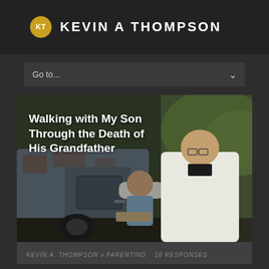KT  KEVIN A THOMPSON
Go to...
[Figure (photo): A man in a white shirt and glasses crouching next to a young boy sitting on what appears to be an old rusty truck. The image has a warm, vintage tone with green foliage in the background. Text overlay reads: Walking with My Son Through the Death of His Grandfather]
KEVIN A. THOMPSON » PARENTING    16 RESPONSES